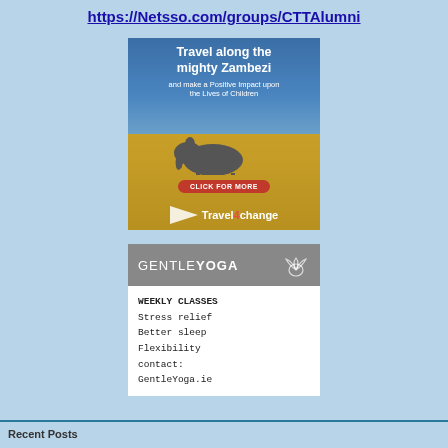https://Netsso.com/groups/CTTAlumni
[Figure (illustration): Travel4change advertisement: 'Travel along the mighty Zambezi and make a Positive Impact upon the Lives of Children' with elephant photo, red 'CLICK FOR MORE' button, and Travel4change logo with paper plane icon on blue/golden background.]
[Figure (illustration): Gentle Yoga advertisement with grey header showing 'GENTLEYOGA' and lotus flower icon, white body with monospace text listing: WEEKLY CLASSES, Stress relief, Better sleep, Flexibility, contact: GentleYoga.ie]
Recent Posts